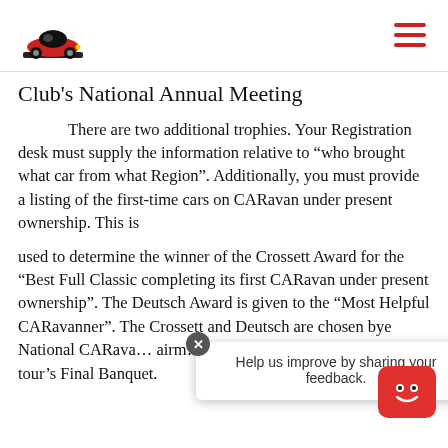Car club logo and navigation menu
Club's National Annual Meeting
There are two additional trophies. Your Registration desk must supply the information relative to “who brought what car from what Region”. Additionally, you must provide a listing of the first-time cars on CARavan under present ownership. This is
used to determine the winner of the Crossett Award for the “Best Full Classic completing its first CARavan under present ownership”. The Deutsch Award is given to the “Most Helpful CARavanner”. The Crossett and Deutsch are chosen by the National CARava… airm… designated repre… …ted at the tour’s Final Banquet.
Help us improve by sharing your feedback.